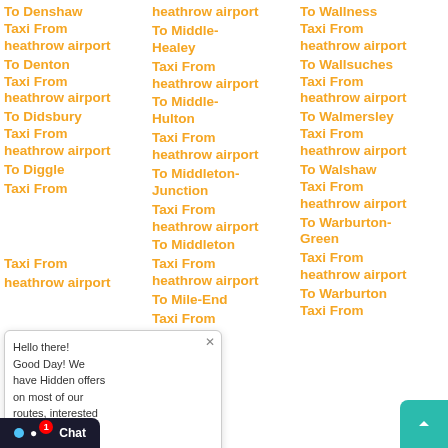To Denshaw Taxi From heathrow airport
To Denton Taxi From heathrow airport
To Didsbury Taxi From heathrow airport
To Diggle Taxi From heathrow airport
heathrow airport (partially obscured)
heathrow airport (partially obscured)
heathrow airport (partially obscured)
To Middle-Healey Taxi From heathrow airport
To Middle-Hulton Taxi From heathrow airport
To Middleton-Junction Taxi From heathrow airport
To Middleton Taxi From heathrow airport
To Mile-End Taxi From
To Wallness Taxi From heathrow airport
To Wallsuches Taxi From heathrow airport
To Walmersley Taxi From heathrow airport
To Walshaw Taxi From heathrow airport
To Warburton-Green Taxi From heathrow airport
To Warburton Taxi From
[Figure (screenshot): Chat popup with message: Hello there! Good Day! We have Hidden offers on most of our routes, interested to know what lies... with Type input row and emoji icons]
[Figure (screenshot): Chat button bottom left with dot and badge showing 1, and back-to-top teal button bottom right]